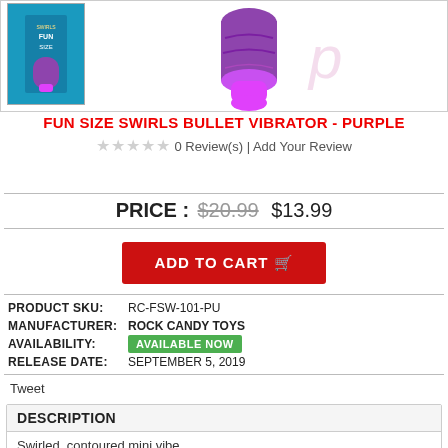[Figure (photo): Product image area showing a thumbnail of the Fun Size Swirls Bullet Vibrator box in blue/purple on the left, and a larger product image of a purple and pink mini vibrator in the center, with a faded pink letter P on the right.]
FUN SIZE SWIRLS BULLET VIBRATOR - PURPLE
0 Review(s) | Add Your Review
PRICE : $20.99  $13.99
ADD TO CART
| PRODUCT SKU: | RC-FSW-101-PU |
| MANUFACTURER: | ROCK CANDY TOYS |
| AVAILABILITY: | AVAILABLE NOW |
| RELEASE DATE: | SEPTEMBER 5, 2019 |
Tweet
DESCRIPTION
Swirled, contoured mini vibe